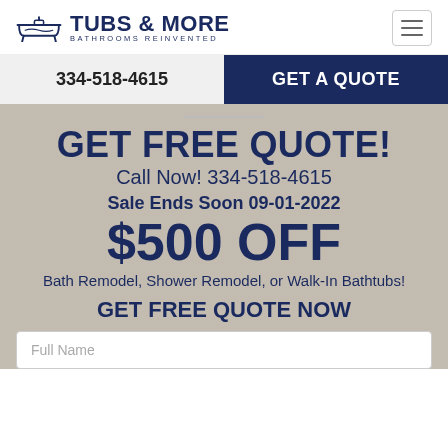TUBS & MORE BATHROOMS REINVENTED
334-518-4615
GET A QUOTE
GET FREE QUOTE!
Call Now! 334-518-4615
Sale Ends Soon 09-01-2022
$500 OFF
Bath Remodel, Shower Remodel, or Walk-In Bathtubs!
GET FREE QUOTE NOW
Full Name